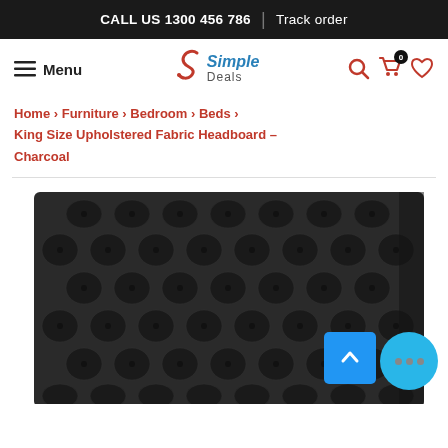CALL US 1300 456 786 | Track order
[Figure (logo): Simple Deals logo with stylized red S and blue Simple Deals text]
Home › Furniture › Bedroom › Beds › King Size Upholstered Fabric Headboard – Charcoal
[Figure (photo): King Size Upholstered Fabric Headboard in Charcoal color, showing tufted diamond pattern fabric headboard]